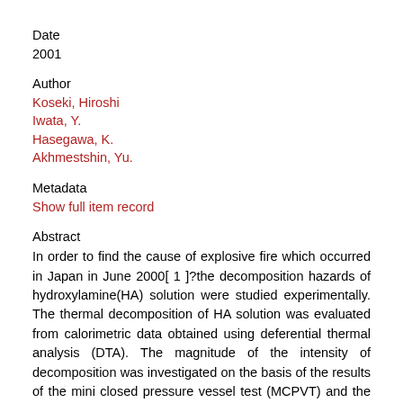Date
2001
Author
Koseki, Hiroshi
Iwata, Y.
Hasegawa, K.
Akhmestshin, Yu.
Metadata
Show full item record
Abstract
In order to find the cause of explosive fire which occurred in Japan in June 2000[ 1 ]?the decomposition hazards of hydroxylamine(HA) solution were studied experimentally. The thermal decomposition of HA solution was evaluated from calorimetric data obtained using deferential thermal analysis (DTA). The magnitude of the intensity of decomposition was investigated on the basis of the results of the mini closed pressure vessel test (MCPVT) and the pressure vessel test (PVT), the steel tube test and the burning test of HA. The